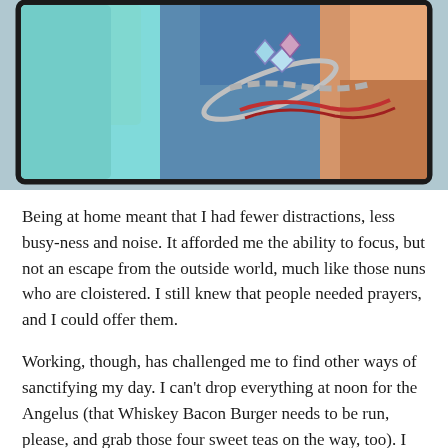[Figure (photo): Close-up photo of a hand holding a decorative bracelet with crystal/gem embellishments, against a teal/blue denim background. The photo has a dark border and rounded corners.]
Being at home meant that I had fewer distractions, less busy-ness and noise. It afforded me the ability to focus, but not an escape from the outside world, much like those nuns who are cloistered. I still knew that people needed prayers, and I could offer them.
Working, though, has challenged me to find other ways of sanctifying my day. I can't drop everything at noon for the Angelus (that Whiskey Bacon Burger needs to be run, please, and grab those four sweet teas on the way, too). I can't always pray Lauds and Vespers the way I feel like I ought to. But I have been trying to find ways to inject some